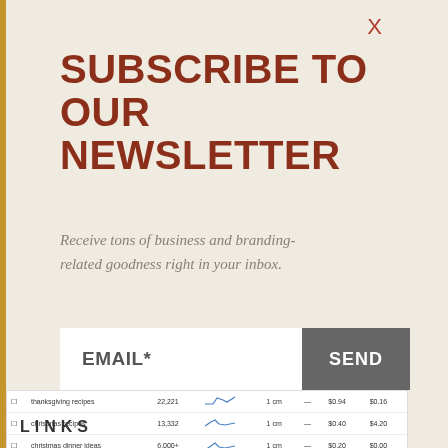SUBSCRIBE TO OUR NEWSLETTER
Receive tons of business and branding-related goodness right in your inbox.
EMAIL*
SEND
| ☐ | thanksgiving recipes | 22,221 | — (sparkline) | 1 cm | — | $0.94 | $0.16 |
| ☐ | christmas recipes | 13,332 | — (sparkline) | 1 cm | — | $0.40 | $4.20 |
| ☐ | christmas dinner ideas | 6,000+ | — (sparkline) | 1 cm | — | $0.20 | $0.00 |
LINKS